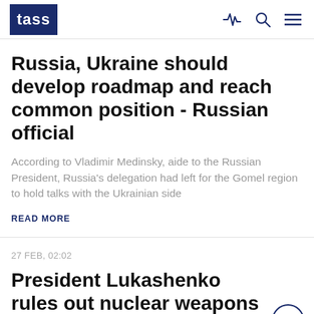TASS
Russia, Ukraine should develop roadmap and reach common position - Russian official
According to Vladimir Medinsky, aide to the Russian President, Russia's delegation had left for the Gomel region to hold talks with the Ukrainian side
READ MORE
27 FEB, 02:02
President Lukashenko rules out nuclear weapons in Belarus